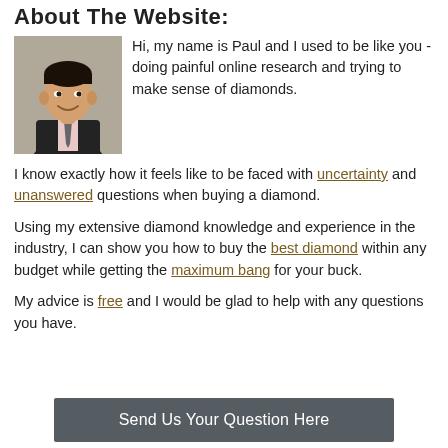About The Website:
[Figure (photo): Headshot photo of a young Asian man in a dark suit and tie, smiling]
Hi, my name is Paul and I used to be like you - doing painful online research and trying to make sense of diamonds.
I know exactly how it feels like to be faced with uncertainty and unanswered questions when buying a diamond.
Using my extensive diamond knowledge and experience in the industry, I can show you how to buy the best diamond within any budget while getting the maximum bang for your buck.
My advice is free and I would be glad to help with any questions you have.
Send Us Your Question Here